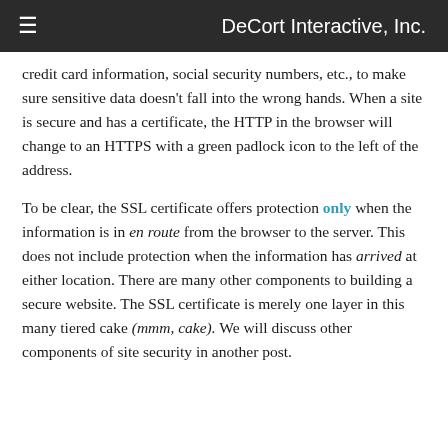≡  DeCort Interactive, Inc.
credit card information, social security numbers, etc., to make sure sensitive data doesn't fall into the wrong hands. When a site is secure and has a certificate, the HTTP in the browser will change to an HTTPS with a green padlock icon to the left of the address.
To be clear, the SSL certificate offers protection only when the information is in en route from the browser to the server. This does not include protection when the information has arrived at either location. There are many other components to building a secure website. The SSL certificate is merely one layer in this many tiered cake (mmm, cake). We will discuss other components of site security in another post.